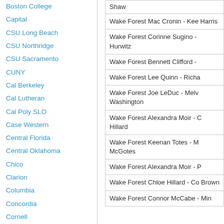Boston College
Capital
CSU Long Beach
CSU Northridge
CSU Sacramento
CUNY
Cal Berkeley
Cal Lutheran
Cal Poly SLO
Case Western
Central Florida
Central Oklahoma
Chico
Clarion
Columbia
Concordia
Cornell
Dartmouth
Denver
Drexel-Swarthmore
ENMU
East Los Angeles College
Eastern Washington
Emory
| Match |
| --- |
| Shaw |
| Wake Forest Mac Cronin - Kee Harris |
| Wake Forest Corinne Sugino - Hurwitz |
| Wake Forest Bennett Clifford - |
| Wake Forest Lee Quinn - Richa |
| Wake Forest Joe LeDuc - Melv Washington |
| Wake Forest Alexandra Moir - C Hillard |
| Wake Forest Keenan Totes - M McGotes |
| Wake Forest Alexandra Moir - P |
| Wake Forest Chloe Hillard - Co Brown |
| Wake Forest Connor McCabe - Min |